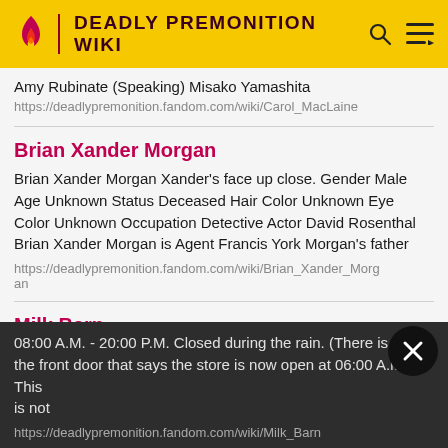DEADLY PREMONITION WIKI
Amy Rubinate (Speaking) Misako Yamashita
https://deadlypremonition.fandom.com/wiki/Carol_MacLaine
Brian Xander Morgan
Brian Xander Morgan Xander's face up close. Gender Male Age Unknown Status Deceased Hair Color Unknown Eye Color Unknown Occupation Detective Actor David Rosenthal Brian Xander Morgan is Agent Francis York Morgan's father
https://deadlypremonition.fandom.com/wiki/Brian_Xander_Morgan
Milk Barn
08:00 A.M. - 20:00 P.M. Closed during the rain. (There is a sign the front door that says the store is now open at 06:00 A.M. This is not
https://deadlypremonition.fandom.com/wiki/Milk_Barn